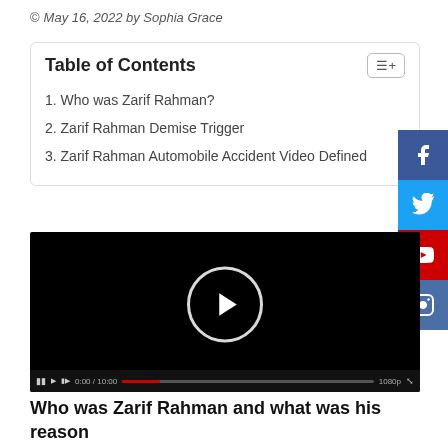© May 16, 2022 by Sophia Grace
| 1. Who was Zarif Rahman? |
| 2. Zarif Rahman Demise Trigger |
| 3. Zarif Rahman Automobile Accident Video Defined |
[Figure (screenshot): Embedded video player with black background, play button circle, and video controls bar at bottom showing progress bar and timestamp.]
Who was Zarif Rahman and what was his reason